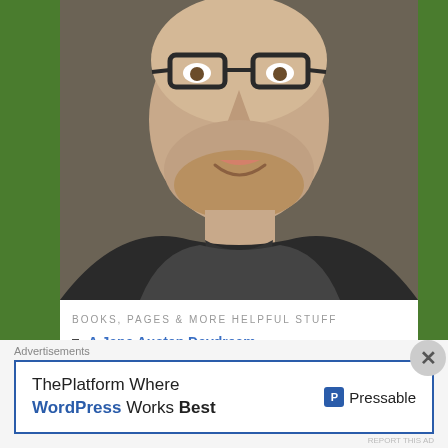[Figure (photo): Portrait photo of a man with glasses and a beard, wearing a dark hoodie, smiling slightly.]
BOOKS, PAGES & MORE HELPFUL STUFF
A Jane Austen Daydream
Book Reviews
Advertisements
ThePlatform Where WordPress Works Best  Pressable